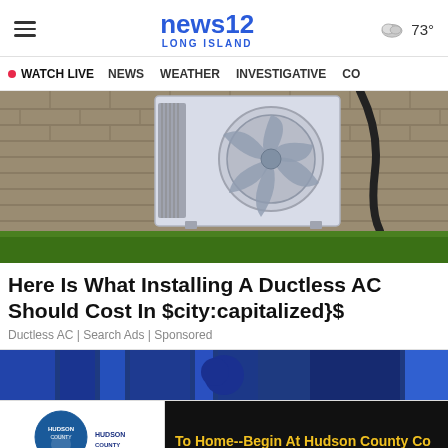news12 LONG ISLAND — WATCH LIVE  NEWS  WEATHER  INVESTIGATIVE
[Figure (photo): Outdoor ductless mini-split AC unit mounted on a brick wall with green grass at the bottom]
Here Is What Installing A Ductless AC Should Cost In $city:capitalized}$
Ductless AC | Search Ads | Sponsored
[Figure (screenshot): News12 broadcast strip with blue striped background]
[Figure (infographic): Hudson County Community College ad: To Home--Begin At Hudson County Co]